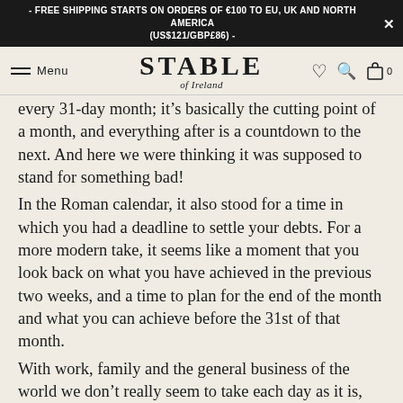- FREE SHIPPING STARTS ON ORDERS OF €100 TO EU, UK AND NORTH AMERICA (US$121/GBP£86) -
STABLE of Ireland — Menu, wishlist, search, cart navigation
every 31-day month; it's basically the cutting point of a month, and everything after is a countdown to the next. And here we were thinking it was supposed to stand for something bad!
In the Roman calendar, it also stood for a time in which you had a deadline to settle your debts. For a more modern take, it seems like a moment that you look back on what you have achieved in the previous two weeks, and a time to plan for the end of the month and what you can achieve before the 31st of that month.
With work, family and the general business of the world we don't really seem to take each day as it is, always looking forward to things in the future, like the weekend, better weather, payday .... Having a 'half time' on